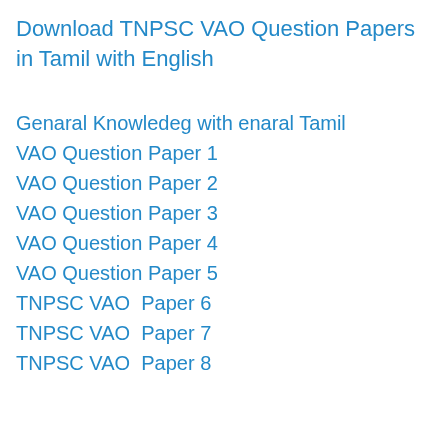Download TNPSC VAO Question Papers in Tamil with English
Genaral Knowledeg with enaral Tamil
VAO Question Paper 1
VAO Question Paper 2
VAO Question Paper 3
VAO Question Paper 4
VAO Question Paper 5
TNPSC VAO  Paper 6
TNPSC VAO  Paper 7
TNPSC VAO  Paper 8